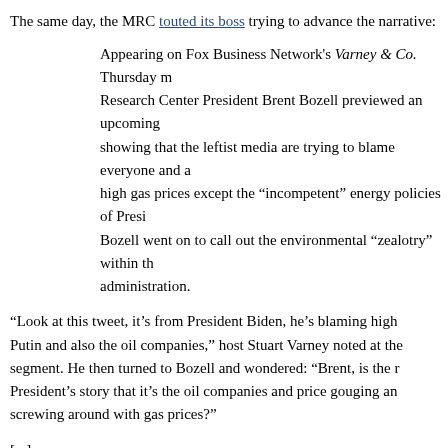The same day, the MRC touted its boss trying to advance the narrative:
Appearing on Fox Business Network’s Varney & Co. Thursday m... Research Center President Brent Bozell previewed an upcoming showing that the leftist media are trying to blame everyone and a high gas prices except the “incompetent” energy policies of Presi... Bozell went on to call out the environmental “zealotry” within th... administration.
“Look at this tweet, it’s from President Biden, he’s blaming high Putin and also the oil companies,” host Stuart Varney noted at the segment. He then turned to Bozell and wondered: “Brent, is the r... President’s story that it’s the oil companies and price gouging an... screwing around with gas prices?”
[...]
Varney called out those who were actually responsible for surgin...
You have to say that John Kerry, the climate czar, a couple senators, AOC, the Greens essentially, the global warmers global climate warriors, these are the people who are reall... responsible for the rising price of gas because they cut pro... of fossil fuels. It’s their fault to some degree – a large deg...
Bozell replied: “Stuart, top to bottom, this administration is being